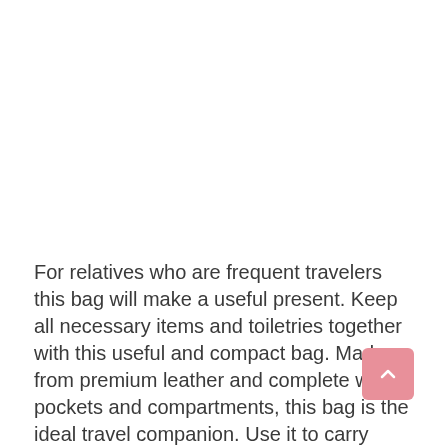For relatives who are frequent travelers this bag will make a useful present. Keep all necessary items and toiletries together with this useful and compact bag. Made from premium leather and complete with pockets and compartments, this bag is the ideal travel companion. Use it to carry